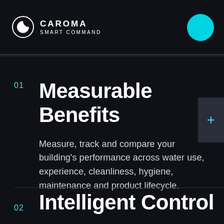CAROMA SMART COMMAND
01 Measurable Benefits
Measure, track and compare your building's performance across water use, experience, cleanliness, hygiene, maintenance and product lifecycle.
02 Intelligent Control